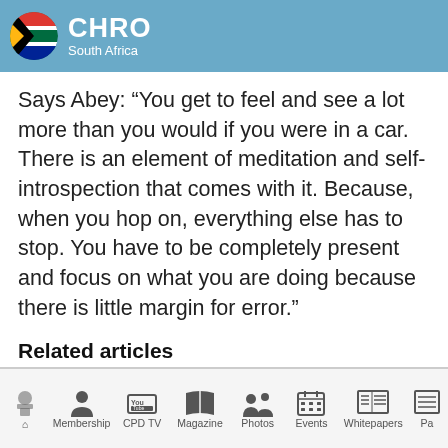CHRO South Africa
Says Abey: “You get to feel and see a lot more than you would if you were in a car. There is an element of meditation and self-introspection that comes with it. Because, when you hop on, everything else has to stop. You have to be completely present and focus on what you are doing because there is little margin for error.”
Related articles
Home | Membership | CPD TV | Magazine | Photos | Events | Whitepapers | Pa...